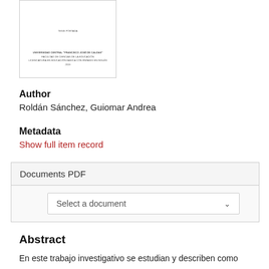[Figure (other): Thumbnail image of a document cover page showing small text lines for university, faculty, and degree program information]
Author
Roldán Sánchez, Guiomar Andrea
Metadata
Show full item record
Documents PDF
Select a document
Abstract
En este trabajo investigativo se estudian y describen como